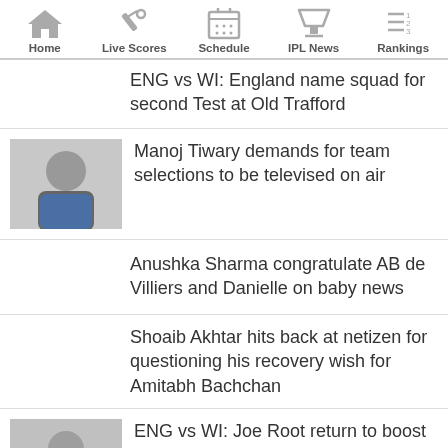[Figure (screenshot): Mobile app navigation bar with icons: Home, Live Scores, Schedule, IPL News, Rankings]
ENG vs WI: England name squad for second Test at Old Trafford
Manoj Tiwary demands for team selections to be televised on air
Anushka Sharma congratulate AB de Villiers and Danielle on baby news
Shoaib Akhtar hits back at netizen for questioning his recovery wish for Amitabh Bachchan
ENG vs WI: Joe Root return to boost England...